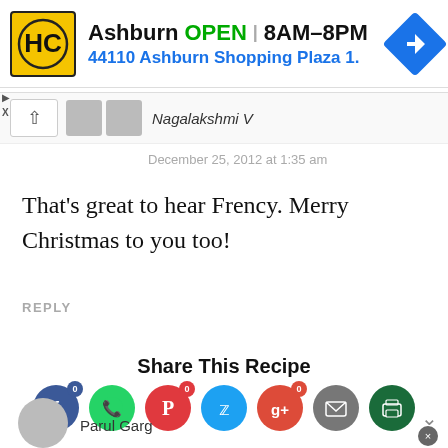[Figure (screenshot): Advertisement banner for Hairclub Ashburn showing logo, OPEN status, hours 8AM-8PM, address 44110 Ashburn Shopping Plaza 1., and navigation icon]
Nagalakshmi V
December 25, 2012 at 1:35 am
That's great to hear Frency. Merry Christmas to you too!
REPLY
Share This Recipe
[Figure (screenshot): Social sharing icons: Facebook, WhatsApp, Pinterest, Twitter, Google+, Email, Print with badge counters showing 0]
Parul Garg